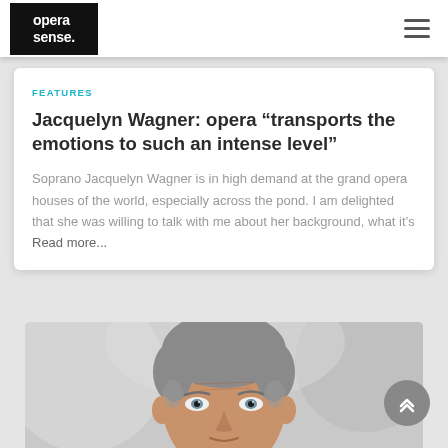opera sense.
FEATURES
Jacquelyn Wagner: opera “transports the emotions to such an intense level”
Soprano Jacquelyn Wagner is in high demand at the grand opera houses of the world, especially across the pond. I am delighted that she was willing to talk with me about her background, what it’s Read more…
[Figure (photo): Close-up photograph of a middle-aged man with gray hair and blue eyes, slightly out of focus background]